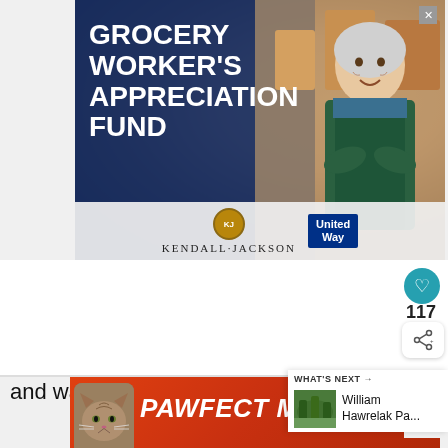[Figure (photo): Advertisement banner for Grocery Worker's Appreciation Fund featuring a smiling older woman in a green apron with arms crossed, sponsored by Kendall-Jackson and United Way, with a close button (X) in the top right corner.]
There are benches available for sitting and watching as well.
[Figure (screenshot): What's Next panel showing thumbnail image and text 'William Hawrelak Pa...']
[Figure (photo): Advertisement banner for Pawfect Match featuring a cat photo on orange/red background.]